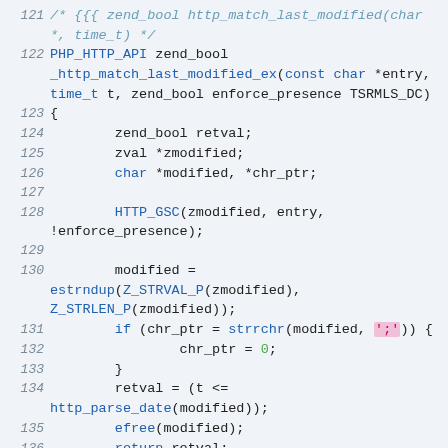[Figure (screenshot): Source code listing in C showing lines 121-138 of a PHP HTTP API implementation. The code defines the function _http_match_last_modified_ex with parameters const char *entry, time_t t, zend_bool enforce_presence TSRMLS_DC. The function body includes variable declarations, HTTP_GSC call, string duplication via estrndup, a strrchr call on modified with ';' character, chr_ptr assignment, date parsing, efree, and return statements.]